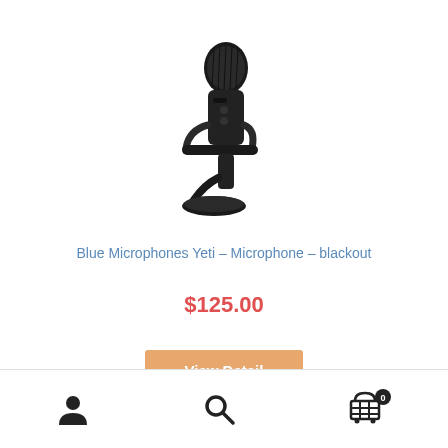[Figure (photo): Blue Microphones Yeti microphone in blackout color on a desktop stand, angled view, all black.]
Blue Microphones Yeti – Microphone – blackout
$125.00
View Detail
User icon | Search icon | Cart icon with badge 0